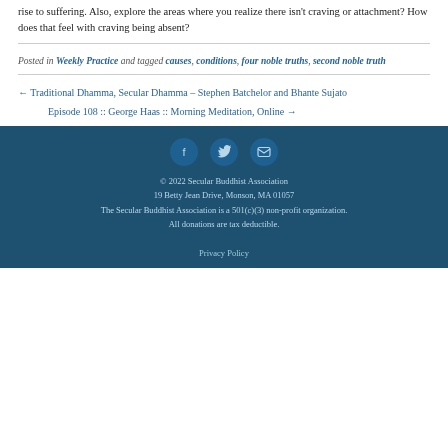rise to suffering. Also, explore the areas where you realize there isn't craving or attachment? How does that feel with craving being absent?
Posted in Weekly Practice and tagged causes, conditions, four noble truths, second noble truth
← Traditional Dhamma, Secular Dhamma – Stephen Batchelor and Bhante Sujato
Episode 108 :: George Haas :: Morning Meditation, Online →
© 2022 Secular Buddhist Association
19 Betty Jean Drive, Monson, MA 01057
The Secular Buddhist Association is a 501(c)(3) non-profit organization.
All donations are tax deductible.
Privacy Policy